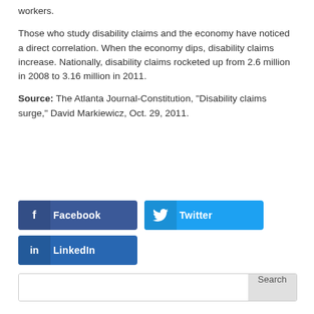workers.
Those who study disability claims and the economy have noticed a direct correlation. When the economy dips, disability claims increase. Nationally, disability claims rocketed up from 2.6 million in 2008 to 3.16 million in 2011.
Source: The Atlanta Journal-Constitution, “Disability claims surge,” David Markiewicz, Oct. 29, 2011.
[Figure (infographic): Social media share buttons: Facebook (dark blue), Twitter (light blue), LinkedIn (dark blue)]
[Figure (other): Search bar with Search button]